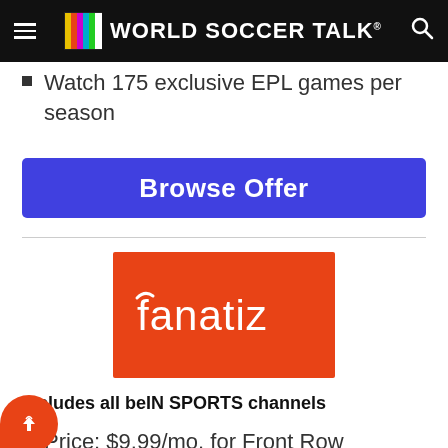World Soccer Talk
Watch 175 exclusive EPL games per season
Browse Offer
[Figure (logo): Fanatiz logo — white text on orange/red background]
Includes all beIN SPORTS channels
Price: $9.99/mo. for Front Row package
Watch Copa Libertadores, Brasileirão & Primera División